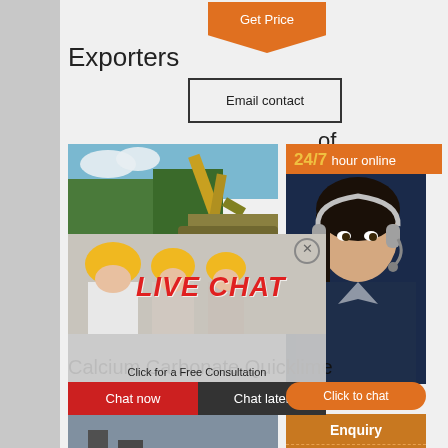Get Price
Exporters
Email contact
of
[Figure (photo): Construction workers in yellow helmets with excavator in background, live chat popup overlay with 'LIVE CHAT Click for a Free Consultation', Chat now and Chat later buttons, and a customer service agent on the right with 24/7 hour online panel and Click to chat button]
Enquiry
superbrian707@gmail.com
Calcium Carbonate Quicklime
Middle East ...